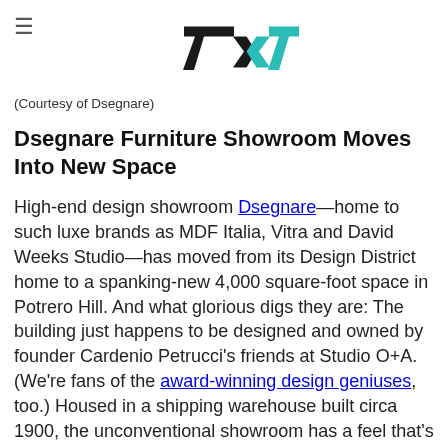7x7 logo with hamburger menu
(Courtesy of Dsegnare)
Dsegnare Furniture Showroom Moves Into New Space
High-end design showroom Dsegnare—home to such luxe brands as MDF Italia, Vitra and David Weeks Studio—has moved from its Design District home to a spanking-new 4,000 square-foot space in Potrero Hill. And what glorious digs they are: The building just happens to be designed and owned by founder Cardenio Petrucci's friends at Studio O+A. (We're fans of the award-winning design geniuses, too.) Housed in a shipping warehouse built circa 1900, the unconventional showroom has a feel that's at once industrial and refined, the perfect foundation for Dsegnare's new private label collections, designed